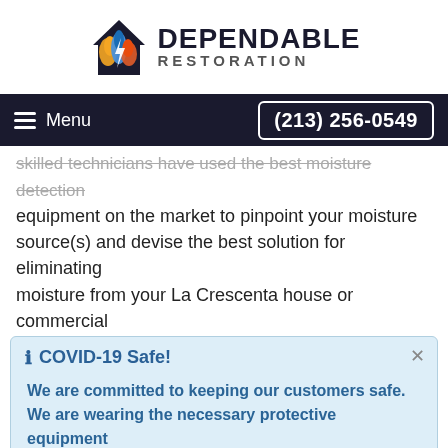[Figure (logo): Dependable Restoration logo with flame/house icon and bold text]
Menu  (213) 256-0549
skilled technicians have used the best moisture detection equipment on the market to pinpoint your moisture source(s) and devise the best solution for eliminating moisture from your La Crescenta house or commercial
COVID-19 Safe!

We are committed to keeping our customers safe. We are wearing the necessary protective equipment
and consistently following the CDC guidelines.
Moisture in La Crescenta
Once it is determined that you've got a moisture problem,